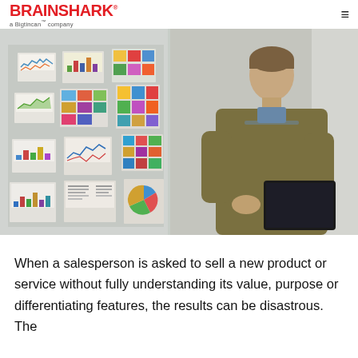BRAINSHARK a Bigtincan™ company
[Figure (photo): A man in a sweater looking at a tablet device, standing in front of a glass wall covered with charts and colorful papers/sticky notes in an office setting.]
When a salesperson is asked to sell a new product or service without fully understanding its value, purpose or differentiating features, the results can be disastrous. The